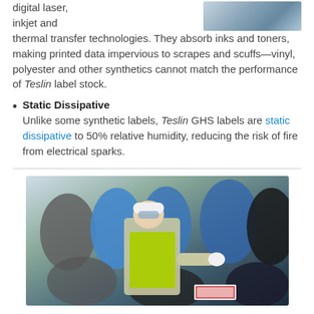digital laser, inkjet and thermal transfer technologies. They absorb inks and toners, making printed data impervious to scrapes and scuffs—vinyl, polyester and other synthetics cannot match the performance of Teslin label stock.
[Figure (photo): A person holding a label or document, partially visible at top right]
Static Dissipative
Unlike some synthetic labels, Teslin GHS labels are static dissipative to 50% relative humidity, reducing the risk of fire from electrical sparks.
[Figure (photo): Worker in yellow safety vest and hard hat labeling industrial drums in a warehouse]